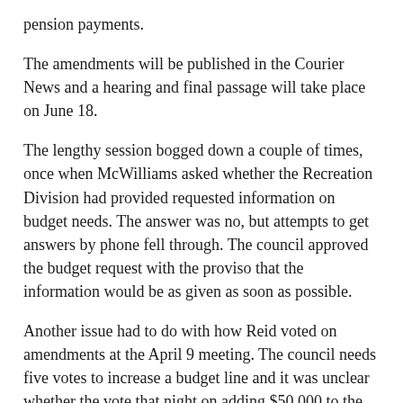pension payments.
The amendments will be published in the Courier News and a hearing and final passage will take place on June 18.
The lengthy session bogged down a couple of times, once when McWilliams asked whether the Recreation Division had provided requested information on budget needs. The answer was no, but attempts to get answers by phone fell through. The council approved the budget request with the proviso that the information would be as given as soon as possible.
Another issue had to do with how Reid voted on amendments at the April 9 meeting. The council needs five votes to increase a budget line and it was unclear whether the vote that night on adding $50,000 to the council's "other expense" line had passed 5-2 or 4-3. Reid did not recall changing his vote that night and the council took a recess to check the vote, but tapes of the meeting were not available. A heated exchange broke out between Mapp and Reid over the issue, but Mapp later apologized to viewers who might